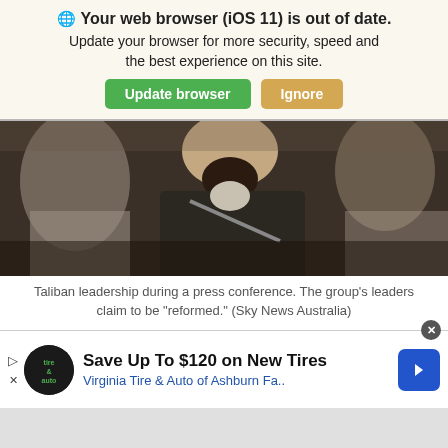Your web browser (iOS 11) is out of date.
Update your browser for more security, speed and the best experience on this site.
[Figure (photo): Photo of Taliban leadership during a press conference, showing a bearded man from behind/side with others in background.]
Taliban leadership during a press conference. The group's leaders claim to be “reformed.” (Sky News Australia)
As the Taliban rapidly marched across Afghanistan, over the last two weeks, and into Kabul, their leadership has been claiming that they are working hard to be different this time
[Figure (other): Advertisement banner: Save Up To $120 on New Tires - Virginia Tire & Auto of Ashburn Fa..]